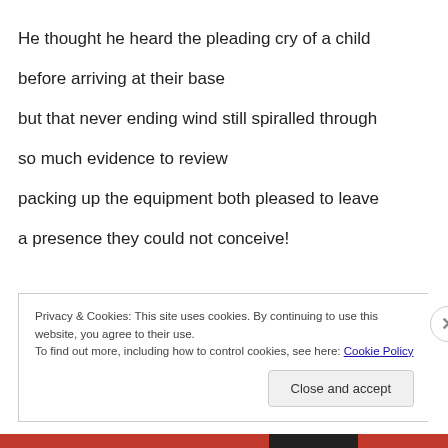He thought he heard the pleading cry of a child
before arriving at their base
but that never ending wind still spiralled through
so much evidence to review
packing up the equipment both pleased to leave
a presence they could not conceive!
Privacy & Cookies: This site uses cookies. By continuing to use this website, you agree to their use.
To find out more, including how to control cookies, see here: Cookie Policy
Close and accept